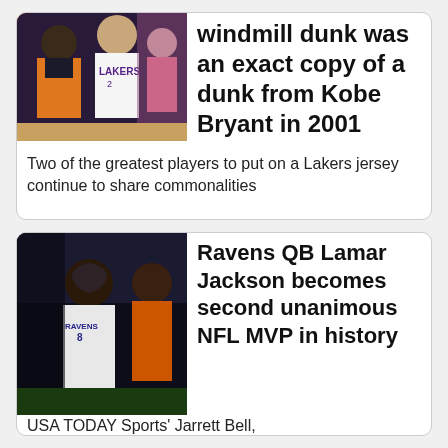[Figure (photo): Two basketball players in Lakers jerseys, one wearing orange vest]
windmill dunk was an exact copy of a dunk from Kobe Bryant in 2001
Two of the greatest players to put on a Lakers jersey continue to share commonalities
[Figure (photo): Ravens QB Lamar Jackson on the sideline with another person]
Ravens QB Lamar Jackson becomes second unanimous NFL MVP in history
USA TODAY Sports' Jarrett Bell,